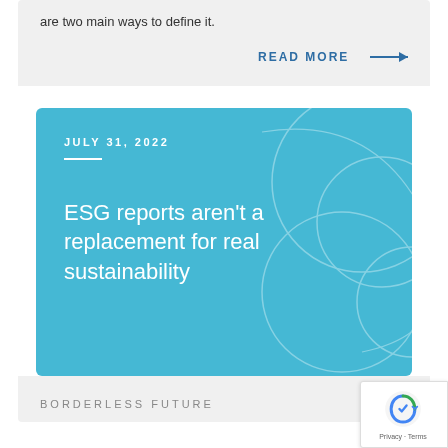are two main ways to define it.
READ MORE →
JULY 31, 2022
ESG reports aren't a replacement for real sustainability
BORDERLESS FUTURE